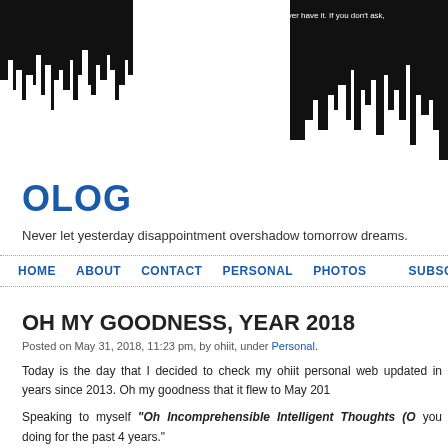[Figure (illustration): Black silhouette cityscape/audio waveform header image with white quote text overlay]
if you don't go after what you want, you'll never have it. If you don't ask,
OLOG
Never let yesterday disappointment overshadow tomorrow dreams.
HOME   ABOUT   CONTACT   PERSONAL   PHOTOS   SUBSC...
OH MY GOODNESS, YEAR 2018
Posted on May 31, 2018, 11:23 pm, by ohiit, under Personal.
Today is the day that I decided to check my ohiit personal web updated in years since 2013. Oh my goodness that it flew to May 201
Speaking to myself “Oh Incomprehensible Intelligent Thoughts (O you doing for the past 4 years.”
Long story short, been busy with personal life, married life and I c